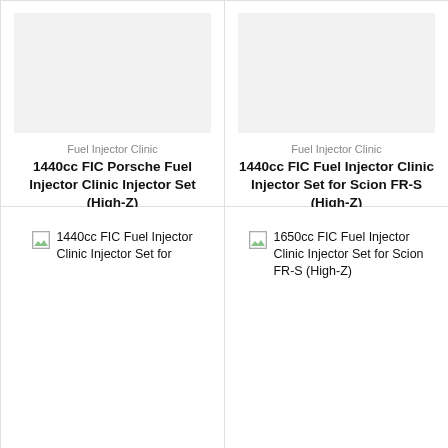[Figure (photo): Product image placeholder (gray box) for 1440cc FIC Porsche Fuel Injector Clinic Injector Set (High-Z)]
Fuel Injector Clinic
1440cc FIC Porsche Fuel Injector Clinic Injector Set (High-Z)
From $1,528.99
[Figure (photo): Product image placeholder (gray box) for 1440cc FIC Fuel Injector Clinic Injector Set for Scion FR-S (High-Z)]
Fuel Injector Clinic
1440cc FIC Fuel Injector Clinic Injector Set for Scion FR-S (High-Z)
From $1,024.99
[Figure (photo): Broken image icon for 1440cc FIC Fuel Injector Clinic Injector Set for Scion FR-S (High-Z)]
1440cc FIC Fuel Injector Clinic Injector Set for
[Figure (photo): Broken image icon for 1650cc FIC Fuel Injector Clinic Injector Set for Scion FR-S (High-Z)]
1650cc FIC Fuel Injector Clinic Injector Set for Scion FR-S (High-Z)